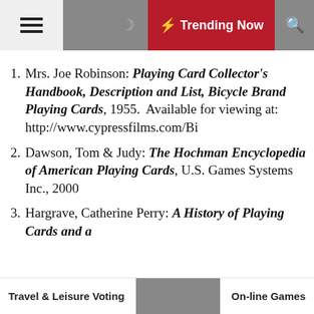Trending Now
Mrs. Joe Robinson: Playing Card Collector's Handbook, Description and List, Bicycle Brand Playing Cards, 1955. Available for viewing at: http://www.cypressfilms.com/Bi
Dawson, Tom & Judy: The Hochman Encyclopedia of American Playing Cards, U.S. Games Systems Inc., 2000
Hargrave, Catherine Perry: A History of Playing Cards and a
Travel & Leisure Voting    On-line Games